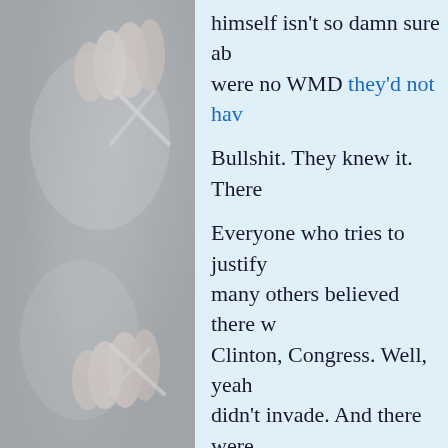[Figure (photo): A grayscale photo of hands holding scissors, visible on the left side of the page. The background is gray with soft lighting highlighting fingers and scissor blades.]
himself isn't so damn sure abo... were no WMD they'd not hav...

Bullshit. They knew it. There...

Everyone who tries to justify... many others believed there w... Clinton, Congress. Well, yea... didn't invade. And there were... ignored. But most important o... there were inspectors there. T... THERE!! Finding nothing. G... fact that THERE WERE INST... NOTHING, there was no reas... was really the reason. It's sim... Rantings notwithstanding, I'm... people -- even George Bush...